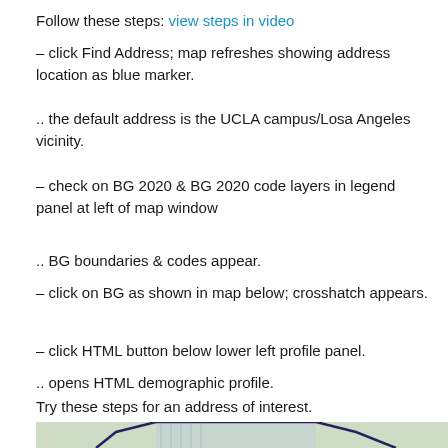Follow these steps: view steps in video
– click Find Address; map refreshes showing address location as blue marker.
.. the default address is the UCLA campus/Losa Angeles vicinity.
– check on BG 2020 & BG 2020 code layers in legend panel at left of map window
.. BG boundaries & codes appear.
– click on BG as shown in map below; crosshatch appears.
– click HTML button below lower left profile panel.
.. opens HTML demographic profile.
Try these steps for an address of interest.
[Figure (map): Map showing Bel Air Country Club area near UCLA campus with crosshatched block group boundaries overlaid in blue on a street map. Dark navy polygon outlines delineate census block groups.]